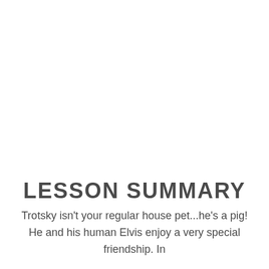LESSON SUMMARY
Trotsky isn't your regular house pet...he's a pig! He and his human Elvis enjoy a very special friendship. In